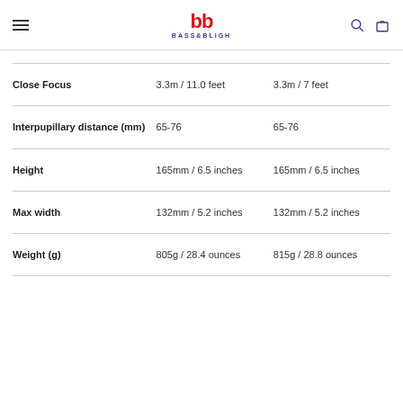bb BASS&BLIGH
|  |  |  |
| --- | --- | --- |
| Close Focus | 3.3m / 11.0 feet | 3.3m / 7 feet |
| Interpupillary distance (mm) | 65-76 | 65-76 |
| Height | 165mm / 6.5 inches | 165mm / 6.5 inches |
| Max width | 132mm / 5.2 inches | 132mm / 5.2 inches |
| Weight (g) | 805g / 28.4 ounces | 815g / 28.8 ounces |